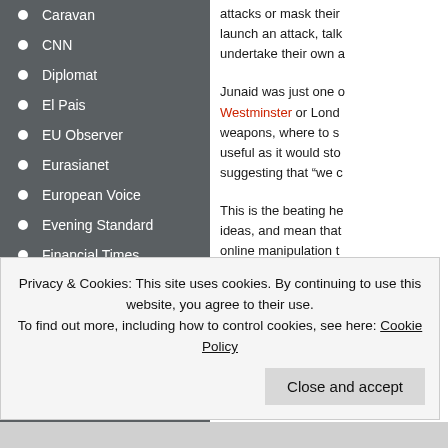Caravan
CNN
Diplomat
El Pais
EU Observer
Eurasianet
European Voice
Evening Standard
Financial Times
Fortune
Global Times
GQ
Guardian
HSToday
attacks or mask their launch an attack, talk undertake their own a
Junaid was just one of Westminster or Lond weapons, where to s useful as it would sto suggesting that “we c
This is the beating he ideas, and mean that online manipulation t are able to manipulat
Privacy & Cookies: This site uses cookies. By continuing to use this website, you agree to their use. To find out more, including how to control cookies, see here: Cookie Policy